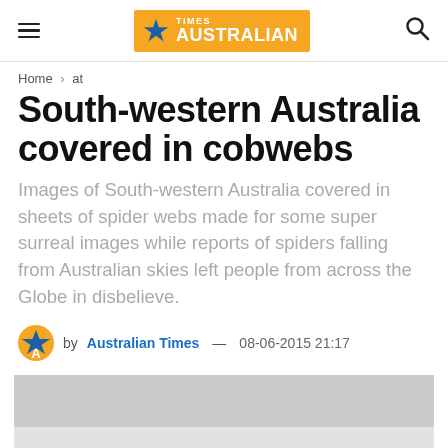≡  TIMES AUSTRALIAN  🔍
Home › at
South-western Australia covered in cobwebs
Images of South-western Australia covered in sheets of spider webs made for some super surreal images while reports of spiders falling from Australian skies left people from across the Globe in disbelieve.
by Australian Times — 08-06-2015 21:17